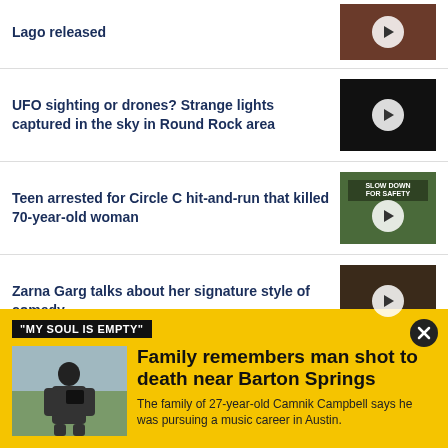Lago released
UFO sighting or drones? Strange lights captured in the sky in Round Rock area
Teen arrested for Circle C hit-and-run that killed 70-year-old woman
Zarna Garg talks about her signature style of comedy
"MY SOUL IS EMPTY"
Family remembers man shot to death near Barton Springs
The family of 27-year-old Camnik Campbell says he was pursuing a music career in Austin.